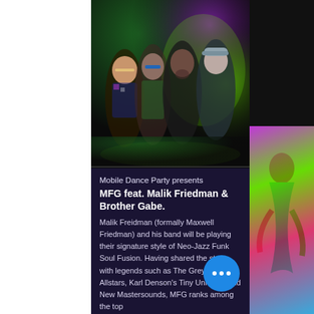[Figure (photo): Band photo of four musicians standing against a colorful smoky green and purple background]
Mobile Dance Party presents MFG feat. Malik Friedman & Brother Gabe.
Malik Freidman (formally Maxwell Friedman) and his band will be playing their signature style of Neo-Jazz Funk Soul Fusion. Having shared the stage with legends such as The Greyboy Allstars, Karl Denson's Tiny Universe and New Mastersounds, MFG ranks among the top